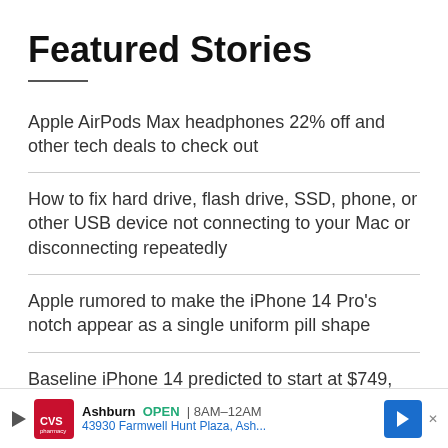Featured Stories
Apple AirPods Max headphones 22% off and other tech deals to check out
How to fix hard drive, flash drive, SSD, phone, or other USB device not connecting to your Mac or disconnecting repeatedly
Apple rumored to make the iPhone 14 Pro's notch appear as a single uniform pill shape
Baseline iPhone 14 predicted to start at $749, iPho…
[Figure (other): CVS Pharmacy advertisement banner: Ashburn OPEN 8AM–12AM, 43930 Farmwell Hunt Plaza, Ash...]